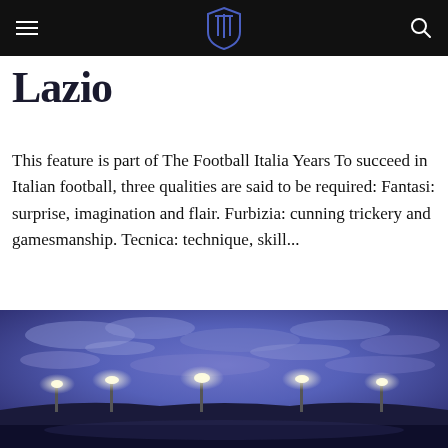Football Italia — navigation bar with logo and search
Lazio
This feature is part of The Football Italia Years To succeed in Italian football, three qualities are said to be required: Fantasi: surprise, imagination and flair. Furbizia: cunning trickery and gamesmanship. Tecnica: technique, skill...
[Figure (photo): A stadium at night under a dramatic purple-blue cloudy sky with bright floodlights illuminating the ground level]